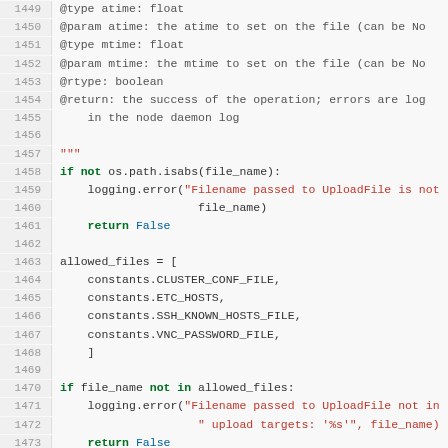[Figure (screenshot): Source code viewer showing Python code lines 1449-1473 with line numbers, syntax highlighting (keywords in green bold, strings in red), on a light gray background.]